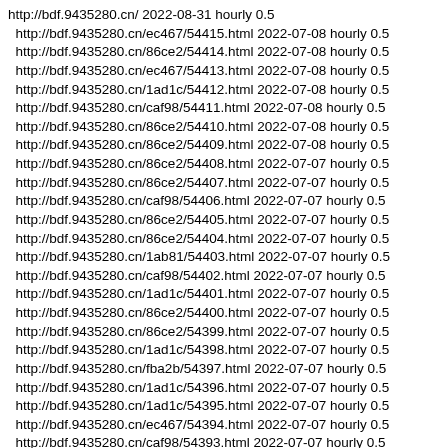http://bdf.9435280.cn/ 2022-08-31 hourly 0.5
http://bdf.9435280.cn/ec467/54415.html 2022-07-08 hourly 0.5
http://bdf.9435280.cn/86ce2/54414.html 2022-07-08 hourly 0.5
http://bdf.9435280.cn/ec467/54413.html 2022-07-08 hourly 0.5
http://bdf.9435280.cn/1ad1c/54412.html 2022-07-08 hourly 0.5
http://bdf.9435280.cn/caf98/54411.html 2022-07-08 hourly 0.5
http://bdf.9435280.cn/86ce2/54410.html 2022-07-08 hourly 0.5
http://bdf.9435280.cn/86ce2/54409.html 2022-07-08 hourly 0.5
http://bdf.9435280.cn/86ce2/54408.html 2022-07-07 hourly 0.5
http://bdf.9435280.cn/86ce2/54407.html 2022-07-07 hourly 0.5
http://bdf.9435280.cn/caf98/54406.html 2022-07-07 hourly 0.5
http://bdf.9435280.cn/86ce2/54405.html 2022-07-07 hourly 0.5
http://bdf.9435280.cn/86ce2/54404.html 2022-07-07 hourly 0.5
http://bdf.9435280.cn/1ab81/54403.html 2022-07-07 hourly 0.5
http://bdf.9435280.cn/caf98/54402.html 2022-07-07 hourly 0.5
http://bdf.9435280.cn/1ad1c/54401.html 2022-07-07 hourly 0.5
http://bdf.9435280.cn/86ce2/54400.html 2022-07-07 hourly 0.5
http://bdf.9435280.cn/86ce2/54399.html 2022-07-07 hourly 0.5
http://bdf.9435280.cn/1ad1c/54398.html 2022-07-07 hourly 0.5
http://bdf.9435280.cn/fba2b/54397.html 2022-07-07 hourly 0.5
http://bdf.9435280.cn/1ad1c/54396.html 2022-07-07 hourly 0.5
http://bdf.9435280.cn/1ad1c/54395.html 2022-07-07 hourly 0.5
http://bdf.9435280.cn/ec467/54394.html 2022-07-07 hourly 0.5
http://bdf.9435280.cn/caf98/54393.html 2022-07-07 hourly 0.5
http://bdf.9435280.cn/fba2b/54392.html 2022-07-07 hourly 0.5